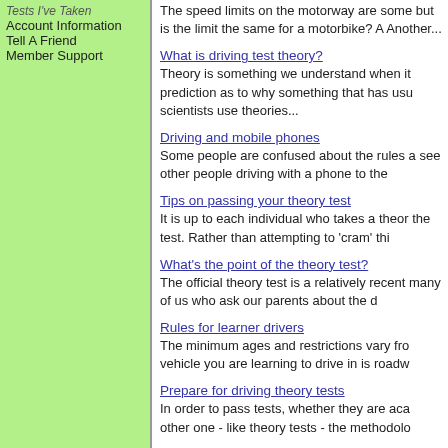Tests I've Taken
Account Information
Tell A Friend
Member Support
The speed limits on the motorway are some but is the limit the same for a motorbike? A Another...
What is driving test theory?
Theory is something we understand when it prediction as to why something that has usu scientists use theories...
Driving and mobile phones
Some people are confused about the rules a see other people driving with a phone to the
Tips on passing your theory test
It is up to each individual who takes a theor the test. Rather than attempting to 'cram' thi
What's the point of the theory test?
The official theory test is a relatively recent many of us who ask our parents about the d
Rules for learner drivers
The minimum ages and restrictions vary fro vehicle you are learning to drive in is roadw
Prepare for driving theory tests
In order to pass tests, whether they are aca other one - like theory tests - the methodolo
Tips on braking on snow and ice
Braking on snow and ice takes a lot longer f long it can take. Infact tests have shown tha